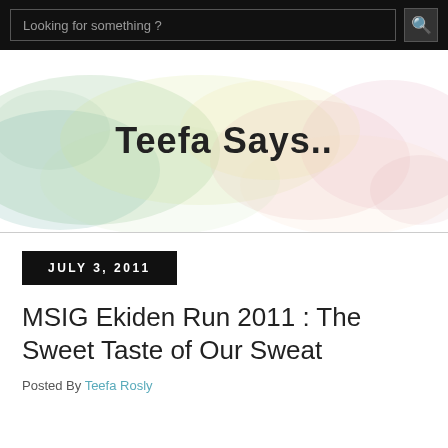Looking for something ?
[Figure (illustration): Watercolor pastel background banner with text 'Teefa Says..' in cursive script]
Teefa Says..
JULY 3, 2011
MSIG Ekiden Run 2011 : The Sweet Taste of Our Sweat
Posted By Teefa Rosly